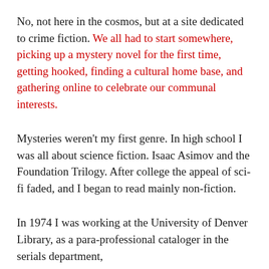No, not here in the cosmos, but at a site dedicated to crime fiction. We all had to start somewhere, picking up a mystery novel for the first time, getting hooked, finding a cultural home base, and gathering online to celebrate our communal interests.
Mysteries weren't my first genre. In high school I was all about science fiction. Isaac Asimov and the Foundation Trilogy. After college the appeal of sci-fi faded, and I began to read mainly non-fiction.
In 1974 I was working at the University of Denver Library, as a para-professional cataloger in the serials department,